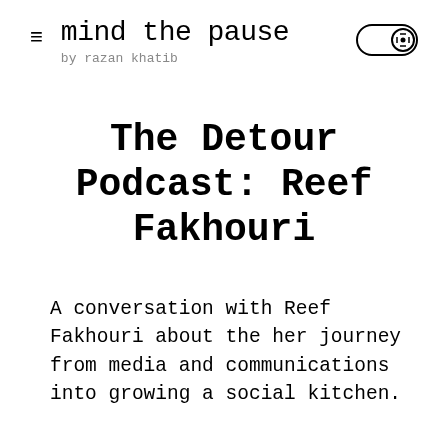mind the pause
by razan khatib
The Detour Podcast: Reef Fakhouri
A conversation with Reef Fakhouri about the her journey from media and communications into growing a social kitchen.